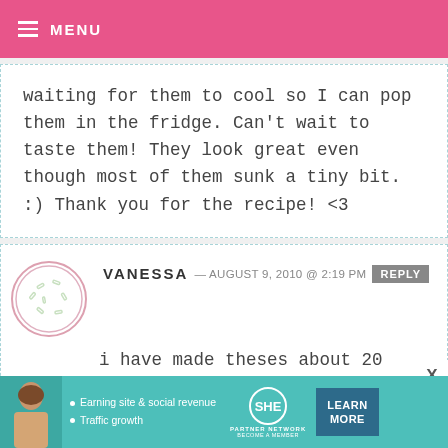MENU
waiting for them to cool so I can pop them in the fridge. Can’t wait to taste them! They look great even though most of them sunk a tiny bit. :) Thank you for the recipe! <3
VANESSA — AUGUST 9, 2010 @ 2:19 PM  REPLY
i have made theses about 20 times since i found your website in may. everyone who i have made them for
[Figure (screenshot): Advertisement banner: SHE Partner Network ad with woman photo, bullet points 'Earning site & social revenue' and 'Traffic growth', SHE logo, LEARN MORE button]